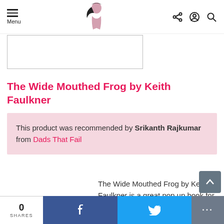Menu | [site logo] | [share] [account] [search]
[Figure (other): Advertisement or image placeholder box]
The Wide Mouthed Frog by Keith Faulkner
This product was recommended by Srikanth Rajkumar from Dads That Fail
The Wide Mouthed Frog by Keith Faulkner is a great pop up book for toddlers. Most toddlers
0 SHARES | f | twitter bird | ...